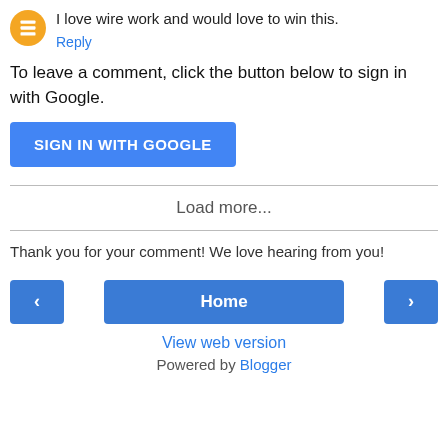I love wire work and would love to win this.
Reply
To leave a comment, click the button below to sign in with Google.
SIGN IN WITH GOOGLE
Load more...
Thank you for your comment! We love hearing from you!
‹
Home
›
View web version
Powered by Blogger